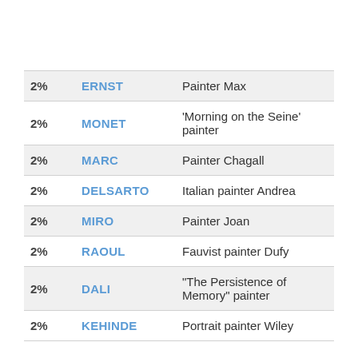|  | Name | Description |
| --- | --- | --- |
| 2% | ERNST | Painter Max |
| 2% | MONET | 'Morning on the Seine' painter |
| 2% | MARC | Painter Chagall |
| 2% | DELSARTO | Italian painter Andrea |
| 2% | MIRO | Painter Joan |
| 2% | RAOUL | Fauvist painter Dufy |
| 2% | DALI | "The Persistence of Memory" painter |
| 2% | KEHINDE | Portrait painter Wiley |